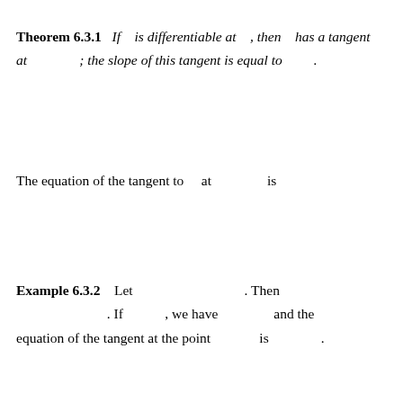Theorem 6.3.1   If   is differentiable at   , then   has a tangent at   ; the slope of this tangent is equal to   .
The equation of the tangent to   at   is
Example 6.3.2   Let   . Then   . If   , we have   and the equation of the tangent at the point   is   .